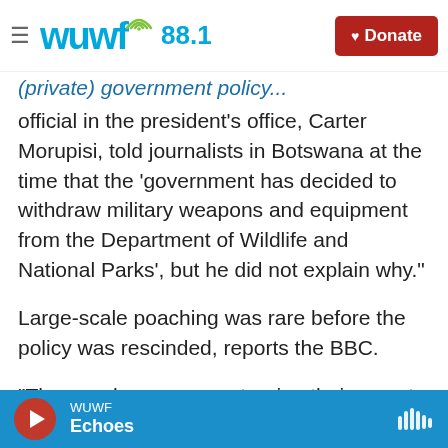WUWF 88.1 | Donate
(partial/clipped) official in the president's office, Carter Morupisi, told journalists in Botswana at the time that the 'government has decided to withdraw military weapons and equipment from the Department of Wildlife and National Parks', but he did not explain why."
Large-scale poaching was rare before the policy was rescinded, reports the BBC.
"The poachers are now turning their guns to Botswana. We have the world's largest elephant population, and it's open season for poachers,"
WUWF Echoes